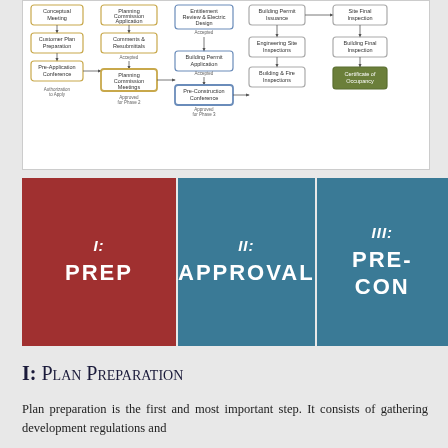[Figure (flowchart): Multi-phase development process flowchart showing phases from Conceptual Meeting through Certificate of Occupancy, including Customer Plan Preparation, Pre-Application Conference, Planning Commission Application, Comments & Resubmittals, Planning Commission Meetings, Entitlement Review & Electric Design, Building Permit Application, Pre-Construction Conference, Building Permit Issuance, Engineering Site Inspections, Building & Fire Inspections, Site Final Inspection, Building Final Inspection, Certificate of Occupancy.]
[Figure (infographic): Three colored phase boxes: I: PREP (red), II: APPROVAL (teal), III: PRE-CON (teal)]
I: Plan Preparation
Plan preparation is the first and most important step. It consists of gathering development regulations and